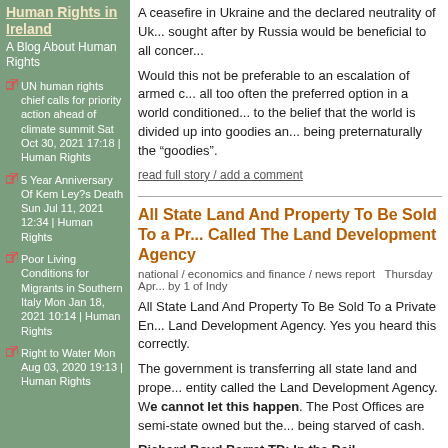Human Rights in Ireland
A Blog About Human Rights
UN human rights chief calls for priority action ahead of climate summit Sat Oct 30, 2021 17:18 | Human Rights
5 Year Anniversary Of Kem Ley?s Death Sun Jul 11, 2021 12:34 | Human Rights
Poor Living Conditions for Migrants in Southern Italy Mon Jan 18, 2021 10:14 | Human Rights
Right to Water Mon Aug 03, 2020 19:13 | Human Rights
A ceasefire in Ukraine and the declared neutrality of Ukraine sought after by Russia would be beneficial to all concerned.
Would this not be preferable to an escalation of armed conflict, all too often the preferred option in a world conditioned by propaganda to the belief that the world is divided up into goodies and the West being preternaturally the "goodies".
read full story / add a comment
All State Land And Property To Be Sold To a Private Entity Called The Land Development Agency
national / economics and finance / news report  Thursday Apr by 1 of Indy
All State Land And Property To Be Sold To a Private Entity Called the Land Development Agency. Yes you heard this correctly.
The government is transferring all state land and property to a private entity called the Land Development Agency. We cannot let this happen. The Post Offices are semi-state owned but they are already being starved of cash.
Richard Boyd Barret TD: In the Dail
Just wow is all I can say… of course the minister has already left the building. The boys are back in town. Fianna Fáil and the rest. This is a hyper-speed version of "The Mistakes of the Past". This legislation is a heist, is a legal method to pillage the Ireland's entire public land bank. It's absolutely extraordinary...